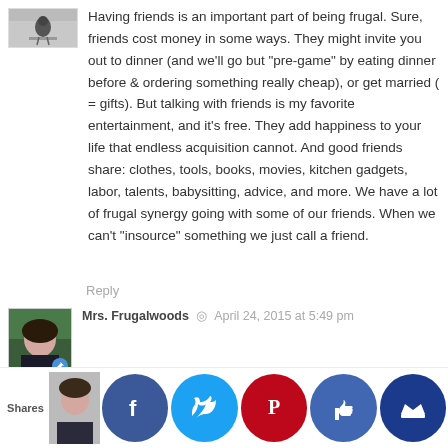[Figure (photo): Small avatar photo, top left, showing a bird or figure on a fence/wall]
Having friends is an important part of being frugal. Sure, friends cost money in some ways. They might invite you out to dinner (and we'll go but "pre-game" by eating dinner before & ordering something really cheap), or get married ( = gifts). But talking with friends is my favorite entertainment, and it's free. They add happiness to your life that endless acquisition cannot. And good friends share: clothes, tools, books, movies, kitchen gadgets, labor, talents, babysitting, advice, and more. We have a lot of frugal synergy going with some of our friends. When we can't "insource" something we just call a friend.
Reply
[Figure (photo): Avatar photo of Mrs. Frugalwoods, a woman with dark hair, green/nature background]
Mrs. Frugalwoods  ◎  April 24, 2015 at 5:49 pm
Great point about the sharing and borrowing economy of frugal friends! That's a priceless thing to have. We're always happy to trade labor or tools–far better than paying someone!
Reply
C...gledob...  April 24,...  t 7:53...
F...ps are...L. For...thoug...was
Shares